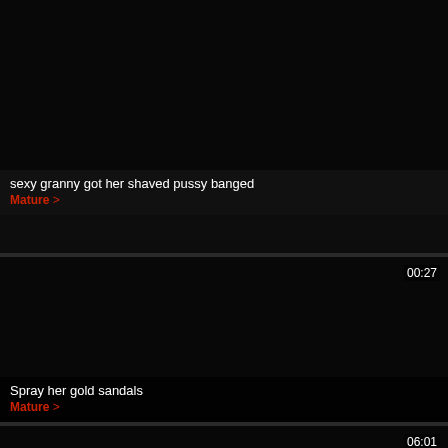[Figure (screenshot): Dark video thumbnail, black]
sexy granny got her shaved pussy banged
Mature >
[Figure (screenshot): Dark video thumbnail, black, with duration 00:27]
Spray her gold sandals
Mature >
[Figure (screenshot): Dark video thumbnail, black, with duration 06:01]